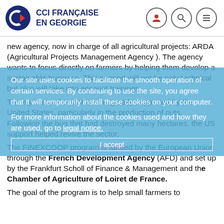CCI FRANÇAISE EN GEORGIE
new agency, now in charge of all agricultural projects: ARDA (Agricultural Projects Management Agency ). The agency wants to focus directly on farmers by helping them develop a sustainable business. This support will not be only technical but also will take into account trainings.
The agricultural sector is now greatly supported by the United States, particularly in the production of nuts. Following the bug that had destroyed many hectares, the US support helped revive the sector.
The FINEXCOOP program is funded by the European Union through the French Development Agency (AFD) and set up by the Frankfurt Scholl of Finance & Management and the Chamber of Agriculture of Loiret de France.
The goal of the program is to help small farmers to
Our site uses cookies to facilitate the smooth operation of certain services. By continuing to use the site, you agree that it will temporarily install these cookies on your computer.
For more information about the cookies used and how they are used, go to legal notice.